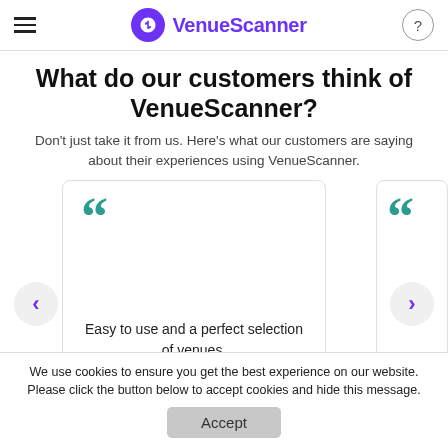VenueScanner
What do our customers think of VenueScanner?
Don't just take it from us. Here's what our customers are saying about their experiences using VenueScanner.
[Figure (screenshot): Customer review card with large teal quotation marks and the text 'Easy to use and a perfect selection of venues.' with left/right navigation arrows]
We use cookies to ensure you get the best experience on our website. Please click the button below to accept cookies and hide this message.